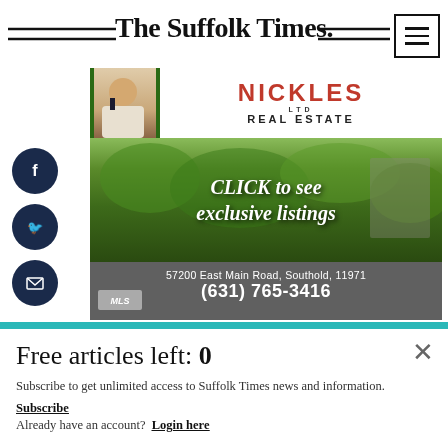The Suffolk Times.
[Figure (photo): Nickles Ltd Real Estate advertisement showing vineyard landscape with text 'CLICK to see exclusive listings', address '57200 East Main Road, Southold, 11971', phone '(631) 765-3416']
[Figure (photo): Expert Interior advertisement with cyan/blue gradient background showing text 'EXPERT INTERIOR']
Free articles left: 0
Subscribe to get unlimited access to Suffolk Times news and information.
Subscribe
Already have an account?  Login here